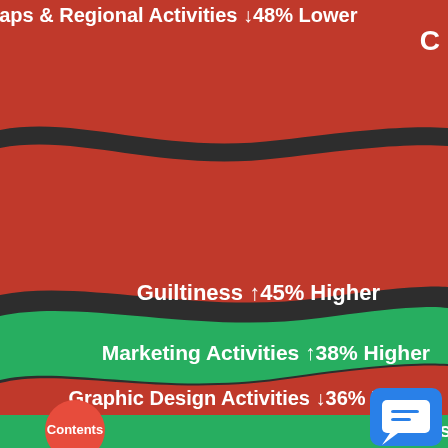[Figure (infographic): Wavy band infographic showing activity categories with percentage changes. Red background with alternating red and green wavy bands. Labels: 'Maps & Regional Activities ↓48% Lower', 'Guiltiness ↑45% Higher', 'Marketing Activities ↑38% Higher', 'Graphic Design Activities ↓36% Lower', 'Photos Activities ↑34% Higher'. A red 'Contents' button bottom-left and a blue chat button bottom-right.]